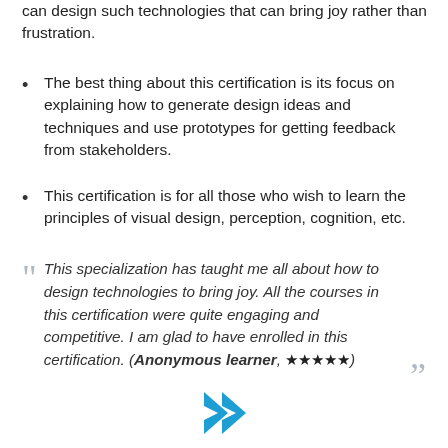can design such technologies that can bring joy rather than frustration.
The best thing about this certification is its focus on explaining how to generate design ideas and techniques and use prototypes for getting feedback from stakeholders.
This certification is for all those who wish to learn the principles of visual design, perception, cognition, etc.
This specialization has taught me all about how to design technologies to bring joy. All the courses in this certification were quite engaging and competitive. I am glad to have enrolled in this certification. (Anonymous learner, ★★★★★)
[Figure (illustration): Blue right-pointing chevron/arrow navigation icon]